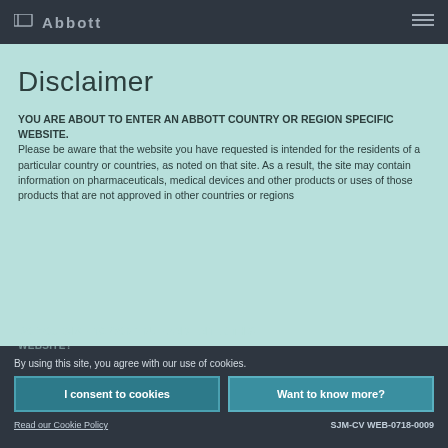Abbott
Disclaimer
YOU ARE ABOUT TO ENTER AN ABBOTT COUNTRY OR REGION SPECIFIC WEBSITE.
Please be aware that the website you have requested is intended for the residents of a particular country or countries, as noted on that site. As a result, the site may contain information on pharmaceuticals, medical devices and other products or uses of those products that are not approved in other countries or regions
DO YOU WISH TO CONTINUE AND ENTER THIS WEBSITE?
By using this site, you agree with our use of cookies.
I consent to cookies
Want to know more?
Read our Cookie Policy    SJM-CV WEB-0718-0009